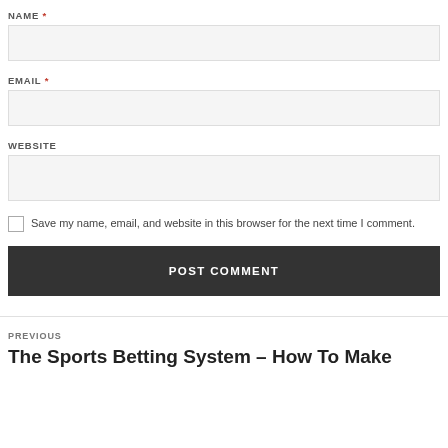NAME *
EMAIL *
WEBSITE
Save my name, email, and website in this browser for the next time I comment.
POST COMMENT
PREVIOUS
The Sports Betting System – How To Make